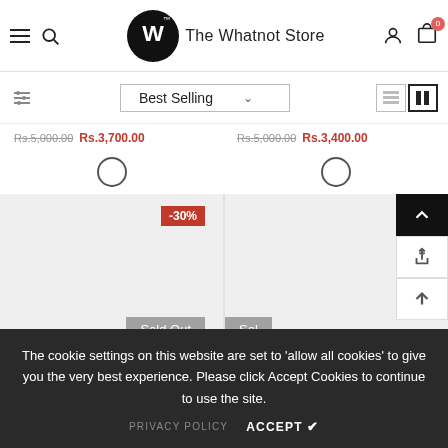The Whatnot Store - navigation header with menu, search, logo, user and cart icons
Best Selling (sort dropdown)
Rs.5,000.00  Rs.3,700.00   Rs.5,000.00  Rs.3,400.00
[Figure (screenshot): Product grid showing two items with -30% discount badges, Sold Out labels, and color swatches]
The cookie settings on this website are set to 'allow all cookies' to give you the very best experience. Please click Accept Cookies to continue to use the site.
PRIVACY POLICY  ACCEPT ✔